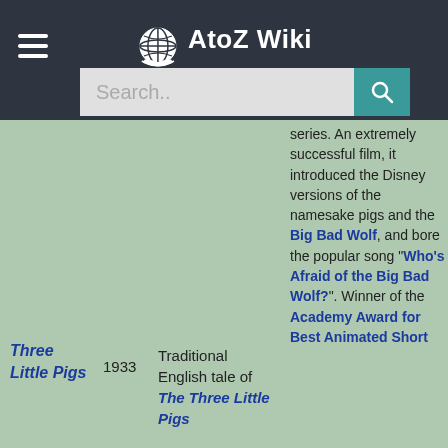AtoZ Wiki
Search..
| Title | Year | Description | Notes |
| --- | --- | --- | --- |
| Three Little Pigs | 1933 | Traditional English tale of The Three Little Pigs | series. An extremely successful film, it introduced the Disney versions of the namesake pigs and the Big Bad Wolf, and bore the popular song "Who's Afraid of the Big Bad Wolf?". Winner of the Academy Award for Best Animated Short |